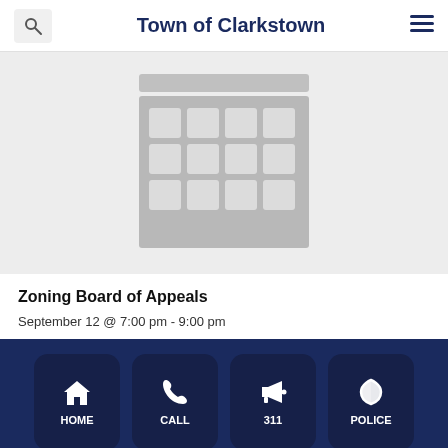Town of Clarkstown
[Figure (illustration): Calendar icon placeholder image on light gray background]
Zoning Board of Appeals
September 12 @ 7:00 pm - 9:00 pm
HOME | CALL | 311 | POLICE